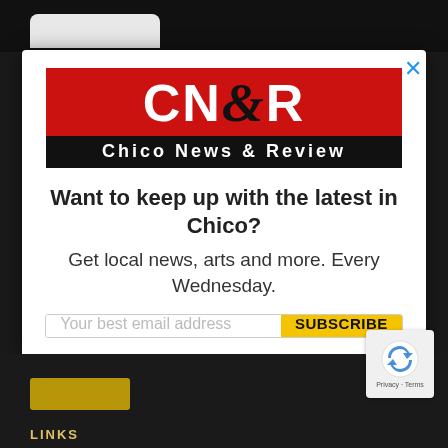[Figure (logo): CN&R Chico News & Review logo — red background with white bold CN&R text and black ampersand, black bar below with white Chico News & Review text]
Want to keep up with the latest in Chico?
Get local news, arts and more. Every Wednesday.
Your best email address
SUBSCRIBE